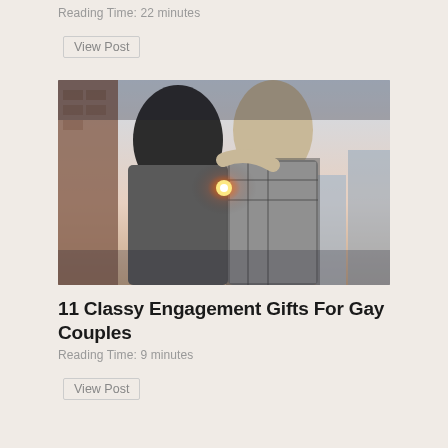Reading Time: 22 minutes
View Post
[Figure (photo): Two men kissing on a rooftop or balcony with a cityscape in the background and a sunburst/lens flare effect between them. One wears a grey sweater, the other a plaid/checkered shirt.]
11 Classy Engagement Gifts For Gay Couples
Reading Time: 9 minutes
View Post